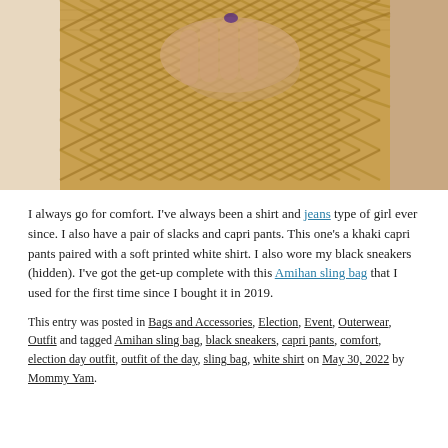[Figure (photo): Close-up photo of a woman's hands holding a woven rattan/bamboo Amihan sling bag against her body wearing a white shirt.]
I always go for comfort. I've always been a shirt and jeans type of girl ever since. I also have a pair of slacks and capri pants. This one's a khaki capri pants paired with a soft printed white shirt. I also wore my black sneakers (hidden). I've got the get-up complete with this Amihan sling bag that I used for the first time since I bought it in 2019.
This entry was posted in Bags and Accessories, Election, Event, Outerwear, Outfit and tagged Amihan sling bag, black sneakers, capri pants, comfort, election day outfit, outfit of the day, sling bag, white shirt on May 30, 2022 by Mommy Yam.